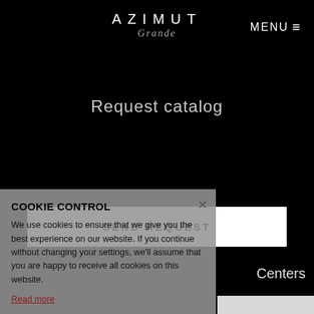[Figure (logo): Azimut Grande logo — AZIMUT in white uppercase spaced letters, Grande in italic cursive below]
MENU ≡
Request catalog
SEND REQUEST
[Figure (illustration): Globe/earth illustration in grayscale, partially visible]
Centers
COOKIE CONTROL
We use cookies to ensure that we give you the best experience on our website. If you continue without changing your settings, we'll assume that you are happy to receive all cookies on this website.
Read more